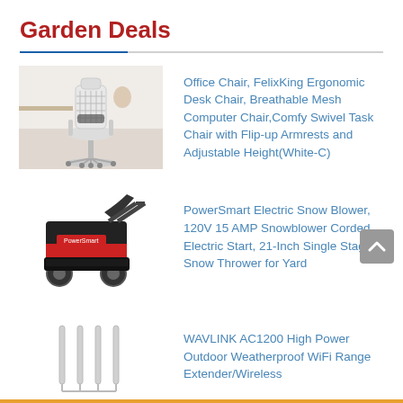Garden Deals
[Figure (photo): White ergonomic office chair with mesh back and armrests in a room setting]
Office Chair, FelixKing Ergonomic Desk Chair, Breathable Mesh Computer Chair,Comfy Swivel Task Chair with Flip-up Armrests and Adjustable Height(White-C)
[Figure (photo): Black and red PowerSmart electric snow blower on white background]
PowerSmart Electric Snow Blower, 120V 15 AMP Snowblower Corded Electric Start, 21-Inch Single Stage Snow Thrower for Yard
[Figure (photo): WAVLINK outdoor WiFi range extender antennas on white background]
WAVLINK AC1200 High Power Outdoor Weatherproof WiFi Range Extender/Wireless